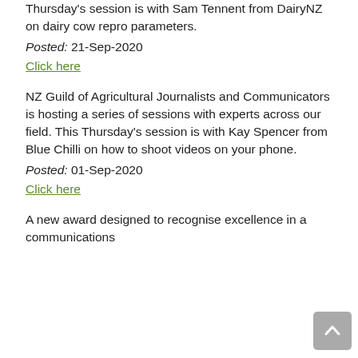series of sessions with experts across our field. This Thursday's session is with Sam Tennent from DairyNZ on dairy cow repro parameters.
Posted: 21-Sep-2020
Click here
NZ Guild of Agricultural Journalists and Communicators is hosting a series of sessions with experts across our field. This Thursday's session is with Kay Spencer from Blue Chilli on how to shoot videos on your phone.
Posted: 01-Sep-2020
Click here
A new award designed to recognise excellence in a communications